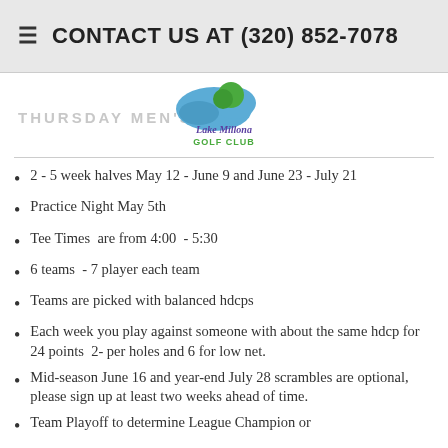CONTACT US AT (320) 852-7078
[Figure (logo): Lake Millona Golf Club logo with blue water/land shape and green tree, text reads 'Lake Millona GOLF CLUB']
THURSDAY MEN'S LEAGUE
2 - 5 week halves May 12 - June 9 and June 23 - July 21
Practice Night May 5th
Tee Times  are from 4:00  - 5:30
6 teams  - 7 player each team
Teams are picked with balanced hdcps
Each week you play against someone with about the same hdcp for 24 points  2- per holes and 6 for low net.
Mid-season June 16 and year-end July 28 scrambles are optional, please sign up at least two weeks ahead of time.
Team Playoff to determine League Champion or